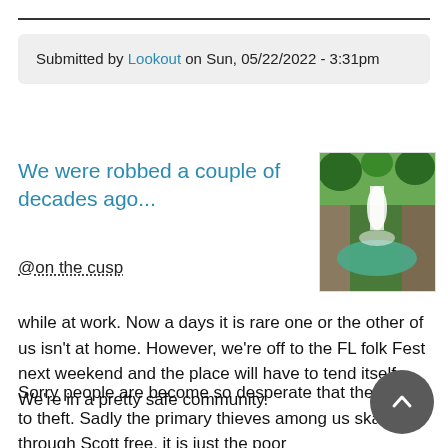Submitted by Lookout on Sun, 05/22/2022 - 3:31pm
We were robbed a couple of decades ago...
@on the cusp
[Figure (photo): A waterfall flowing over rocky cliffs into a green pool, surrounded by trees.]
while at work. Now a days it is rare one or the other of us isn't at home. However, we're off to the FL folk Fest next weekend and the place will have to tend itself. We're in a pretty safe community.
Sorry people are become so desperate that they resort to theft. Sadly the primary thieves among us skate through Scott free, it is just the poor